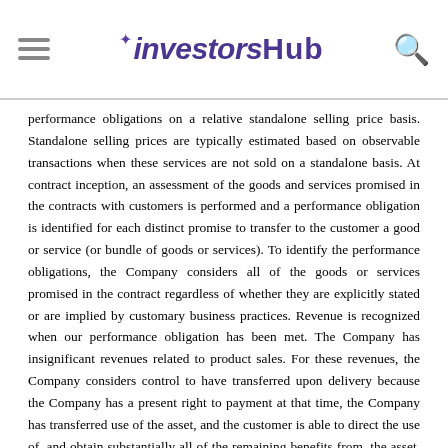investorshub
performance obligations on a relative standalone selling price basis. Standalone selling prices are typically estimated based on observable transactions when these services are not sold on a standalone basis. At contract inception, an assessment of the goods and services promised in the contracts with customers is performed and a performance obligation is identified for each distinct promise to transfer to the customer a good or service (or bundle of goods or services). To identify the performance obligations, the Company considers all of the goods or services promised in the contract regardless of whether they are explicitly stated or are implied by customary business practices. Revenue is recognized when our performance obligation has been met. The Company has insignificant revenues related to product sales. For these revenues, the Company considers control to have transferred upon delivery because the Company has a present right to payment at that time, the Company has transferred use of the asset, and the customer is able to direct the use of, and obtain substantially all of the remaining benefits from, the asset. For arrangements under which the Company provides vehicle tracking services, which account for the substantial portion of the Company's revenues, the Company satisfies its performance obligations as those services are performed whereby the customer simultaneously receives and consumes